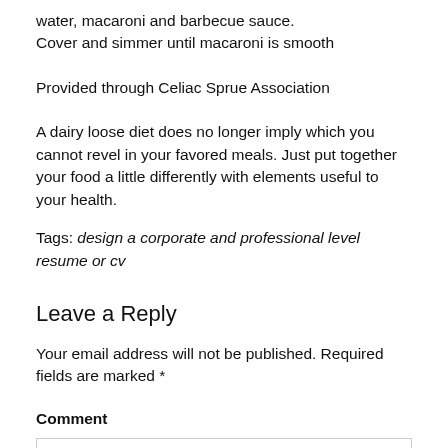water, macaroni and barbecue sauce.
Cover and simmer until macaroni is smooth
Provided through Celiac Sprue Association
A dairy loose diet does no longer imply which you cannot revel in your favored meals. Just put together your food a little differently with elements useful to your health.
Tags: design a corporate and professional level resume or cv
Leave a Reply
Your email address will not be published. Required fields are marked *
Comment